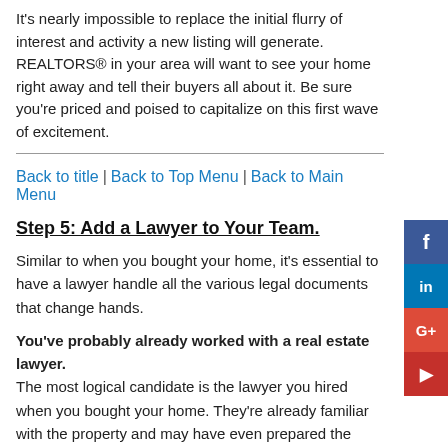It's nearly impossible to replace the initial flurry of interest and activity a new listing will generate. REALTORS® in your area will want to see your home right away and tell their buyers all about it. Be sure you're priced and poised to capitalize on this first wave of excitement.
Back to title | Back to Top Menu | Back to Main Menu
Step 5: Add a Lawyer to Your Team.
Similar to when you bought your home, it's essential to have a lawyer handle all the various legal documents that change hands.
You've probably already worked with a real estate lawyer. The most logical candidate is the lawyer you hired when you bought your home. They're already familiar with the property and may have even prepared the purchase documents. If you were satisfied with their work and fees, look no further.
Other ways to find a lawyer. Ask the people you trust like friends, family or business associates if they know a lawyer with substantial real estate experience. REALTORS® can also give you the names of several lawyers. Before you agree to a lawyer, make sure they're experienced in real estate, ask how they structure their fees, and get an estimate of the other legal costs you can expect.